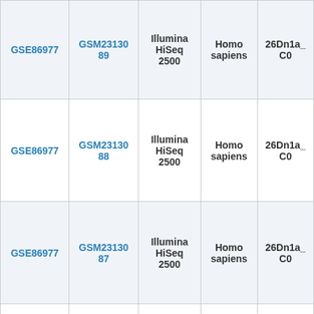| GSE86977 | GSM2313089 | Illumina HiSeq 2500 | Homo sapiens | 26Dn1a_C0 |
| GSE86977 | GSM2313088 | Illumina HiSeq 2500 | Homo sapiens | 26Dn1a_C0 |
| GSE86977 | GSM2313087 | Illumina HiSeq 2500 | Homo sapiens | 26Dn1a_C0 |
| GSE86977 | GSM2313086 | Illumina HiSeq 2500 | Homo sapiens | 26Dn1a_B0 |
|  |  |  |  |  |